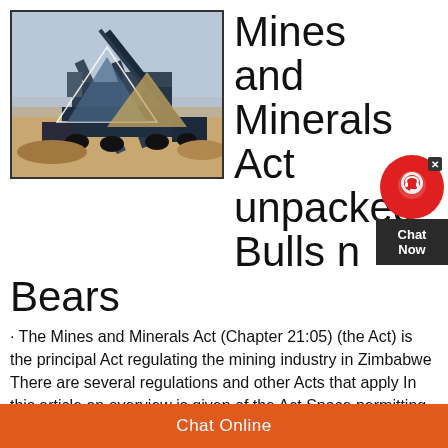[Figure (photo): Mining equipment and machinery at a mining site with geometric triangle overlay graphics (blue and gold/tan colored triangles). Industrial crushing/processing equipment visible against a sky background.]
Mines and Minerals Act unpacked Bulls n Bears
· The Mines and Minerals Act (Chapter 21:05) (the Act) is the principal Act regulating the mining industry in Zimbabwe There are several regulations and other Acts that apply In this article an overview is given of the Act Space permitting specific issues or parts of the Act will be dealt with in future Arrangement of the Act The Act is arranged into twenty seven parts (27) from Part 1 to: The
Chat Online